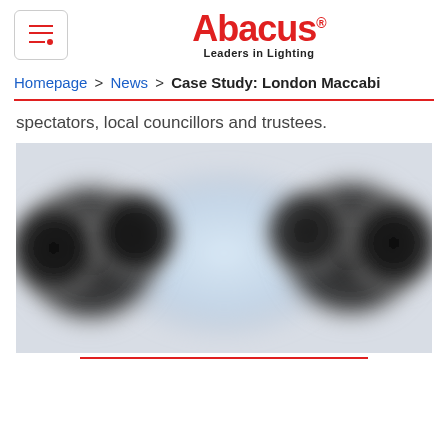Abacus – Leaders in Lighting (logo and menu)
Homepage > News > Case Study: London Maccabi
spectators, local councillors and trustees.
[Figure (photo): Blurred/redacted photograph showing dark circular light shapes against a light background, likely a lighting installation photo.]